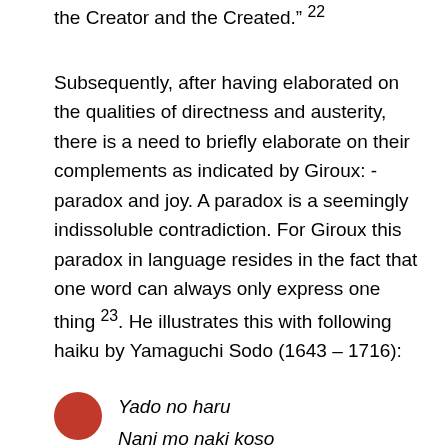the Creator and the Created." 22
Subsequently, after having elaborated on the qualities of directness and austerity, there is a need to briefly elaborate on their complements as indicated by Giroux: - paradox and joy. A paradox is a seemingly indissoluble contradiction. For Giroux this paradox in language resides in the fact that one word can always only express one thing 23. He illustrates this with following haiku by Yamaguchi Sodo (1643 – 1716):
Yado no haru
Nani mo naki koso